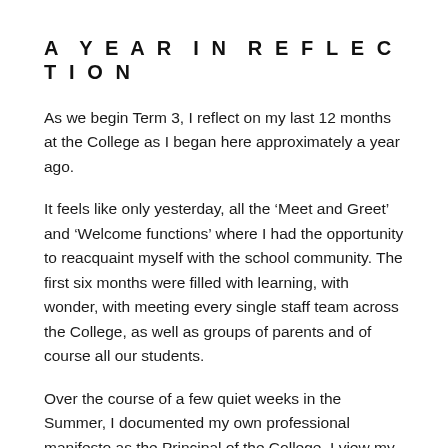A YEAR IN REFLECTION
As we begin Term 3, I reflect on my last 12 months at the College as I began here approximately a year ago.
It feels like only yesterday, all the ‘Meet and Greet’ and ‘Welcome functions’ where I had the opportunity to reacquaint myself with the school community. The first six months were filled with learning, with wonder, with meeting every single staff team across the College, as well as groups of parents and of course all our students.
Over the course of a few quiet weeks in the Summer, I documented my own professional manifesto as the Principal of the College. I view my role as Principal to drive continuous school improvement, progress and change; to ensure that everything we do, and all the